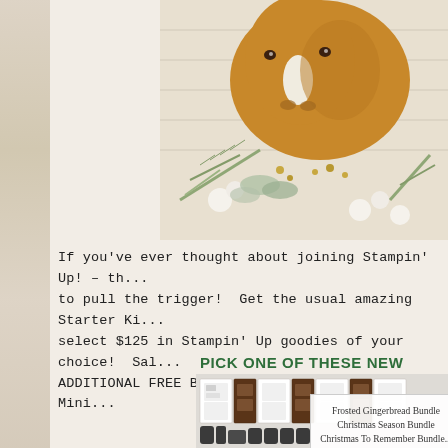[Figure (illustration): Watercolor illustration of a horse (brown/tan) with white face marking, surrounded by winter greenery including pine branches, white flowers, and golden botanical elements. Only the right portion is visible as the image is cropped.]
If you've ever thought about joining Stampin' Up! – th... to pull the trigger!  Get the usual amazing Starter Kit... select $125 in Stampin' Up goodies of your choice!  Sale... ADDITIONAL FREE Bundle from the Jul – Dec 2021 Mini...
PICK ONE OF THESE NEW BUNDLES
[Figure (photo): Product photo grid showing multiple Stampin' Up stamp sets and matching dies/punches arranged in rows. Items include white-background stamp sheet cards paired with dark brown die/punch packaging. Multiple bundles visible.]
Frosted Gingerbread Bundle
Christmas Season Bundle
Christmas To Remember Bundle